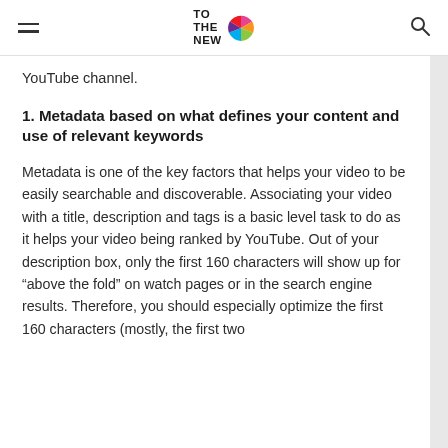TO THE NEW [logo]
YouTube channel.
1. Metadata based on what defines your content and use of relevant keywords
Metadata is one of the key factors that helps your video to be easily searchable and discoverable. Associating your video with a title, description and tags is a basic level task to do as it helps your video being ranked by YouTube. Out of your description box, only the first 160 characters will show up for “above the fold” on watch pages or in the search engine results. Therefore, you should especially optimize the first 160 characters (mostly, the first two